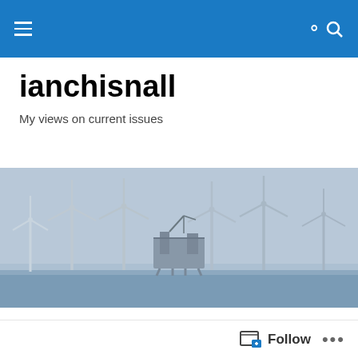ianchisnall — navigation bar with hamburger menu and search icon
ianchisnall
My views on current issues
[Figure (photo): Offshore wind farm with multiple wind turbines and an oil/gas platform in a grey-blue sea under overcast sky]
TAGGED WITH CATHERINE WEST
Gove must start to take seriously his abiding by the law
Follow